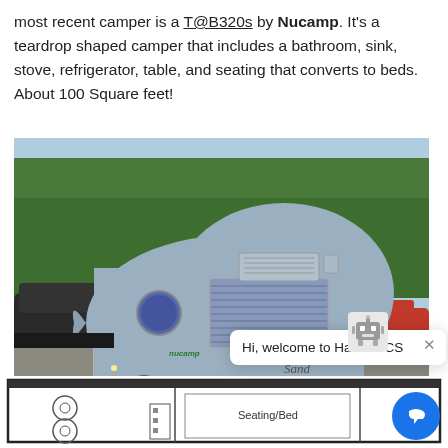most recent camper is a T@B320s by Nucamp. It's a teardrop shaped camper that includes a bathroom, sink, stove, refrigerator, table, and seating that converts to beds. About 100 Square feet!
[Figure (photo): Photo of a silver teardrop-shaped camper (Nucamp T@B320s) parked in a parking lot with trees and blue sky in the background. A chat popup from Hallam-ICS is overlaid on the lower right of the photo.]
[Figure (schematic): Floor plan diagram of the teardrop camper showing a stove/cooktop area on the left and a Seating/Bed area in the center.]